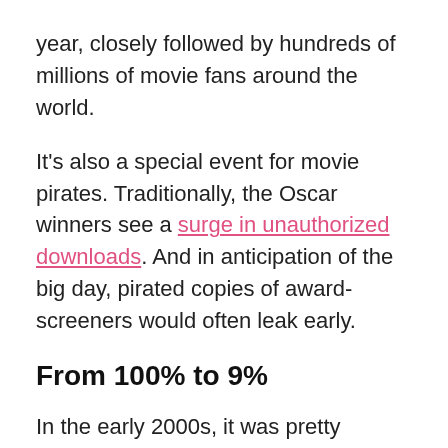year, closely followed by hundreds of millions of movie fans around the world.
It's also a special event for movie pirates. Traditionally, the Oscar winners see a surge in unauthorized downloads. And in anticipation of the big day, pirated copies of award-screeners would often leak early.
From 100% to 9%
In the early 2000s, it was pretty common to see screeners of all Oscar contenders leak online before the winners were announced. This has changed dramatically over the years. In the past decade